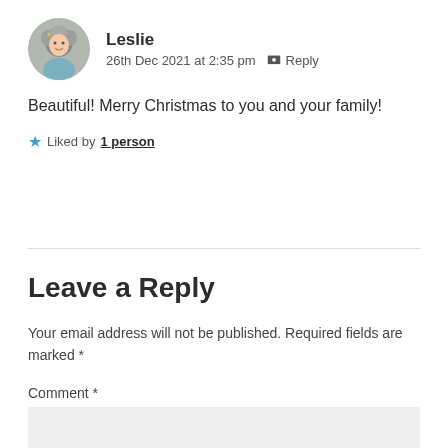Leslie
26th Dec 2021 at 2:35 pm  Reply
Beautiful! Merry Christmas to you and your family!
Liked by 1 person
Leave a Reply
Your email address will not be published. Required fields are marked *
Comment *